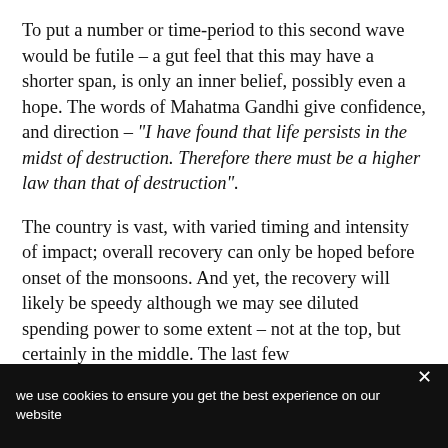To put a number or time-period to this second wave would be futile – a gut feel that this may have a shorter span, is only an inner belief, possibly even a hope. The words of Mahatma Gandhi give confidence, and direction – "I have found that life persists in the midst of destruction. Therefore there must be a higher law than that of destruction".
The country is vast, with varied timing and intensity of impact; overall recovery can only be hoped before onset of the monsoons. And yet, the recovery will likely be speedy although we may see diluted spending power to some extent – not at the top, but certainly in the middle. The last few
we use cookies to ensure you get the best experience on our website